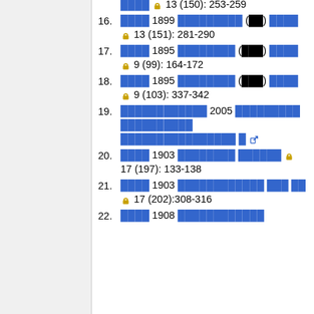13 (150): 253-259
16. [Thai text] 1899 [Thai text] (ฉต) [Thai text] 13 (151): 281-290
17. [Thai text] 1895 [Thai text] (ฉอด) [Thai text] 9 (99): 164-172
18. [Thai text] 1895 [Thai text] (ฉอด) [Thai text] 9 (103): 337-342
19. [Thai text] 2005 [Thai text] [Thai text] [Thai text]
20. [Thai text] 1903 [Thai text] [Thai text] 17 (197): 133-138
21. [Thai text] 1903 [Thai text] [Thai text] 17 (202):308-316
22. [Thai text] 1908 [Thai text]